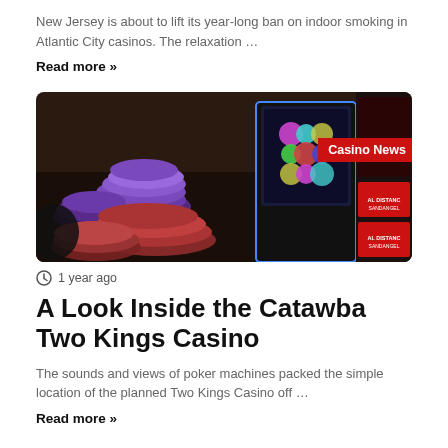New Jersey is about to lift its year-long ban on indoor smoking in Atlantic City casinos. The relaxation …
Read more »
[Figure (photo): Casino table with poker chips in purple and red stacked on a dark surface, alongside glowing slot machines. A red banner reads 'Casino News'. Signs in the background mention social distancing.]
1 year ago
A Look Inside the Catawba Two Kings Casino
The sounds and views of poker machines packed the simple location of the planned Two Kings Casino off …
Read more »